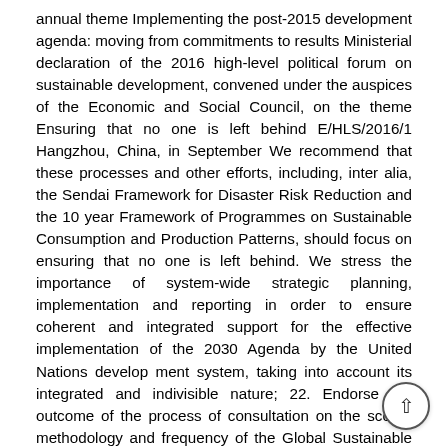annual theme Implementing the post-2015 development agenda: moving from commitments to results Ministerial declaration of the 2016 high-level political forum on sustainable development, convened under the auspices of the Economic and Social Council, on the theme Ensuring that no one is left behind E/HLS/2016/1 Hangzhou, China, in September We recommend that these processes and other efforts, including, inter alia, the Sendai Framework for Disaster Risk Reduction and the 10 year Framework of Programmes on Sustainable Consumption and Production Patterns, should focus on ensuring that no one is left behind. We stress the importance of system-wide strategic planning, implementation and reporting in order to ensure coherent and integrated support for the effective implementation of the 2030 Agenda by the United Nations develop ment system, taking into account its integrated and indivisible nature; 22. Endorse the outcome of the process of consultation on the scope, methodology and frequency of the Global Sustainable Development Report as well as its relationship with the Sustainable Development Goals progress report, as laid out in the annex to the present declaration; 23. Are encouraged, despite varied new challenges emerging after